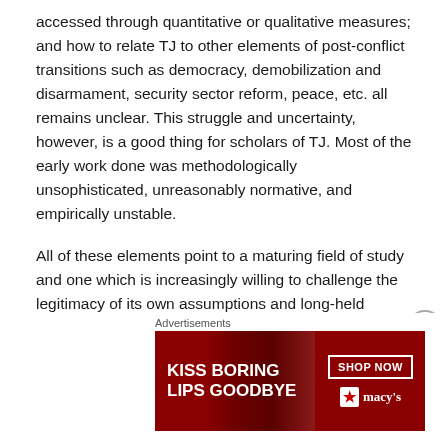accessed through quantitative or qualitative measures; and how to relate TJ to other elements of post-conflict transitions such as democracy, demobilization and disarmament, security sector reform, peace, etc. all remains unclear. This struggle and uncertainty, however, is a good thing for scholars of TJ. Most of the early work done was methodologically unsophisticated, unreasonably normative, and empirically unstable.
All of these elements point to a maturing field of study and one which is increasingly willing to challenge the legitimacy of its own assumptions and long-held claims. In sum, TJ is not only a fascinating area of study to be involved in but is clearly vigorous and healthy.
[Figure (other): Advertisement banner for Macy's cosmetics: 'KISS BORING LIPS GOODBYE' with SHOP NOW button and Macy's logo, featuring close-up of lips in red/dark background]